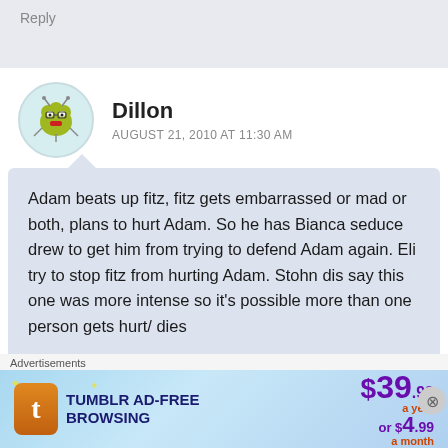Reply
Dillon
AUGUST 21, 2010 AT 11:30 AM
Adam beats up fitz, fitz gets embarrassed or mad or both, plans to hurt Adam. So he has Bianca seduce drew to get him from trying to defend Adam again. Eli try to stop fitz from hurting Adam. Stohn dis say this one was more intense so it’s possible more than one person gets hurt/ dies

Just what I think, anyone think something close could
Advertisements
[Figure (screenshot): Tumblr Ad-Free Browsing advertisement banner showing $39.99 a year or $4.99 a month]